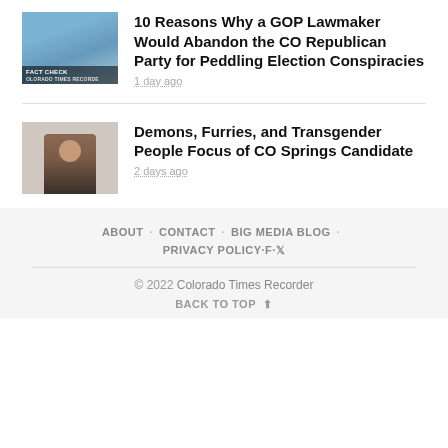[Figure (photo): Thumbnail image with Fact Check label and mountain/landscape background for Colorado Times Recorder]
10 Reasons Why a GOP Lawmaker Would Abandon the CO Republican Party for Peddling Election Conspiracies
1 day ago
[Figure (photo): Thumbnail image of a man in a brown jacket standing in a room with chairs]
Demons, Furries, and Transgender People Focus of CO Springs Candidate
2 days ago
ABOUT · CONTACT · BIG MEDIA BLOG · PRIVACY POLICY · f · 𝕏
© 2022 Colorado Times Recorder
BACK TO TOP ↑